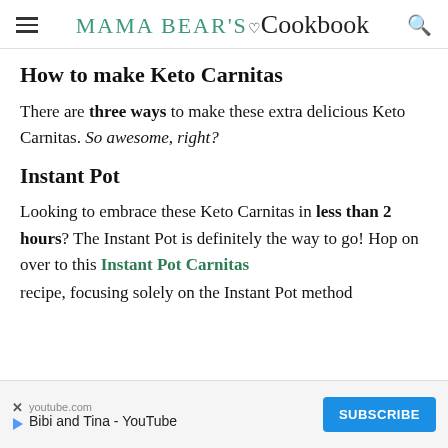Mama Bear's Cookbook
How to make Keto Carnitas
There are three ways to make these extra delicious Keto Carnitas. So awesome, right?
Instant Pot
Looking to embrace these Keto Carnitas in less than 2 hours? The Instant Pot is definitely the way to go! Hop on over to this Instant Pot Carnitas recipe, focusing solely on the Instant Pot method
[Figure (other): YouTube advertisement banner for 'Bibi and Tina - YouTube' with a Subscribe button]